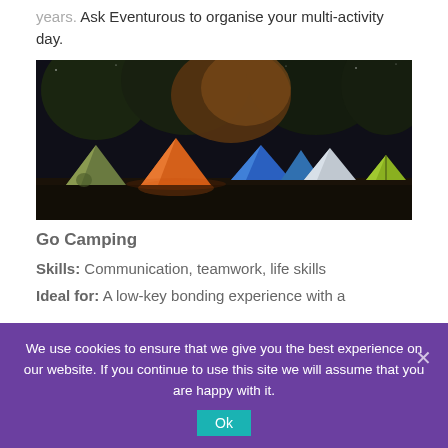years. Ask Eventurous to organise your multi-activity day.
[Figure (photo): Nighttime camping scene with multiple colorful tents (green, orange, blue, white, yellow-green) set up in a forest clearing, illuminated against dark trees]
Go Camping
Skills: Communication, teamwork, life skills
Ideal for: A low-key bonding experience with a
We use cookies to ensure that we give you the best experience on our website. If you continue to use this site we will assume that you are happy with it.